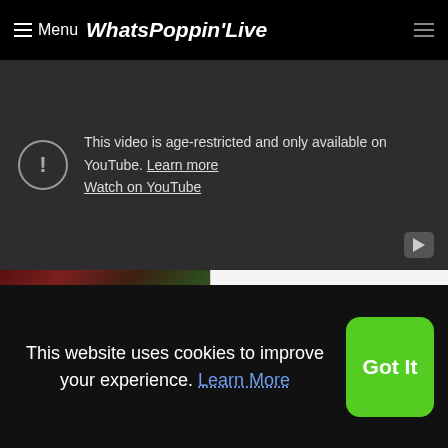≡ Menu WhatsPoppin'Live
This video is age-restricted and only available on YouTube. Learn more
Watch on YouTube
[Figure (screenshot): Thumbnail for Key & Peele - Undercover Boss video. Shows a partial image of a figure.]
Key & Peele - Undercover Boss
This website uses cookies to improve your experience. Learn More